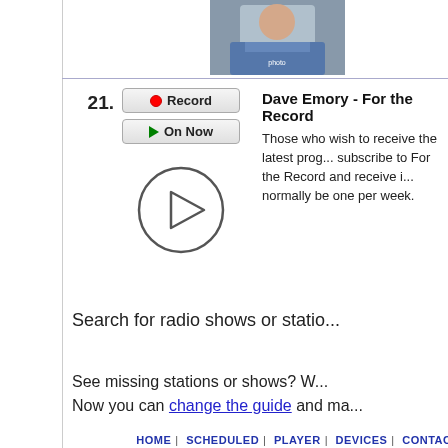[Figure (photo): Photo of a person in a plaid/checkered shirt, cropped at top]
21.
[Figure (screenshot): Record button with red dot icon]
[Figure (screenshot): On Now button with green play triangle]
[Figure (illustration): Circular play button icon]
Dave Emory - For the Record
Those who wish to receive the latest prog... subscribe to For the Record and receive i... normally be one per week.
Search for radio shows or statio...
See missing stations or shows? W... Now you can change the guide and ma...
HOME | SCHEDULED | PLAYER | DEVICES | CONTACT | FAQ